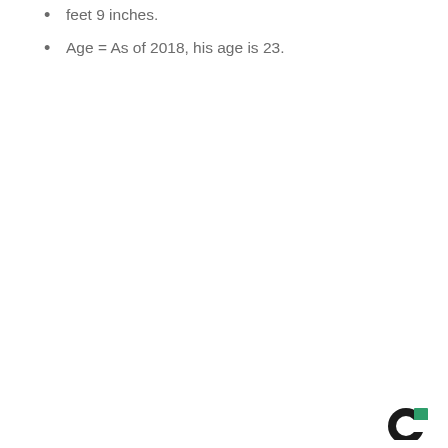feet 9 inches.
Age = As of 2018, his age is 23.
[Figure (logo): Small logo in bottom-right corner: circular icon with black and teal/green colors, letter C shape]